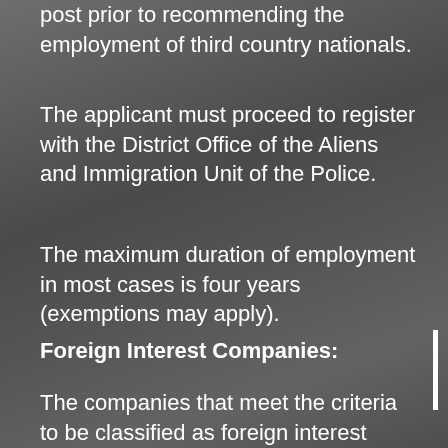post prior to recommending the employment of third country nationals.
The applicant must proceed to register with the District Office of the Aliens and Immigration Unit of the Police.
The maximum duration of employment in most cases is four years (exemptions may apply).
Foreign Interest Companies:
The companies that meet the criteria to be classified as foreign interest companies are